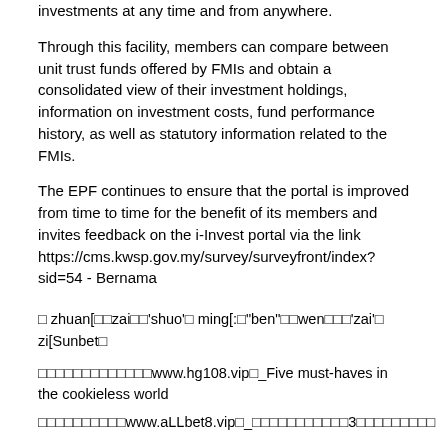investments at any time and from anywhere.
Through this facility, members can compare between unit trust funds offered by FMIs and obtain a consolidated view of their investment holdings, information on investment costs, fund performance history, as well as statutory information related to the FMIs.
The EPF continues to ensure that the portal is improved from time to time for the benefit of its members and invites feedback on the i-Invest portal via the link https://cms.kwsp.gov.my/survey/surveyfront/index?sid=54 - Bernama
□ zhuan[□□zai□□'shuo'□ ming[:□"ben"□□wen□□□'zai'□ zi[Sunbet□
□□□□□□□□□□□□□www.hg108.vip□_Five must-haves in the cookieless world
□□□□□□□□□□www.aLLbet8.vip□_□□□□□□□□□□□3□□□□□□□□□
□□□□